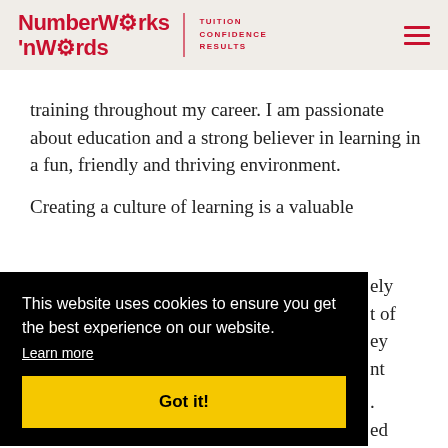NumberWorks'nWords | TUITION CONFIDENCE RESULTS
training throughout my career. I am passionate about education and a strong believer in learning in a fun, friendly and thriving environment.
Creating a culture of learning is a valuable ...ely ...t of ...ey ...nt ...
This website uses cookies to ensure you get the best experience on our website.
Learn more
Got it!
Please contact us if you would like more